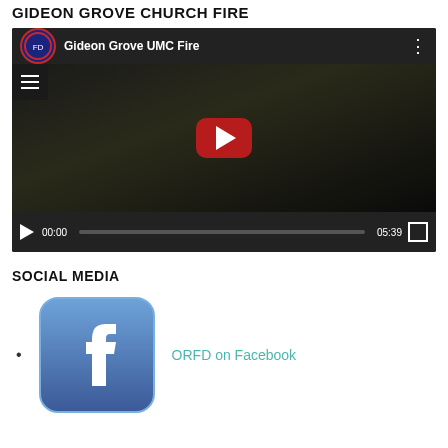GIDEON GROVE CHURCH FIRE
[Figure (screenshot): YouTube video player showing 'Gideon Grove UMC Fire' video, paused at 00:00 with total duration 05:39. Dark thumbnail with YouTube play button visible.]
SOCIAL MEDIA
ORFD on Facebook